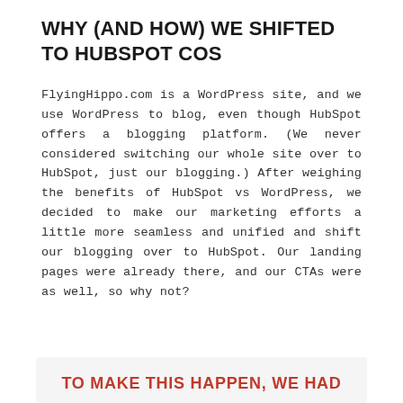WHY (AND HOW) WE SHIFTED TO HUBSPOT COS
FlyingHippo.com is a WordPress site, and we use WordPress to blog, even though HubSpot offers a blogging platform. (We never considered switching our whole site over to HubSpot, just our blogging.) After weighing the benefits of HubSpot vs WordPress, we decided to make our marketing efforts a little more seamless and unified and shift our blogging over to HubSpot. Our landing pages were already there, and our CTAs were as well, so why not?
TO MAKE THIS HAPPEN, WE HAD